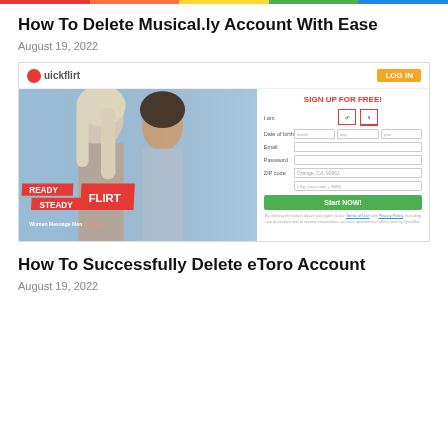How To Delete Musical.ly Account With Ease
August 19, 2022
[Figure (screenshot): Screenshot of Quickflirt.com dating website showing a couple photo with 'READY STEADY FLIRT' overlay text and a sign-up form on the right side with fields for gender, date of birth, email, password, ZIP code, and a green Start Now button.]
How To Successfully Delete eToro Account
August 19, 2022